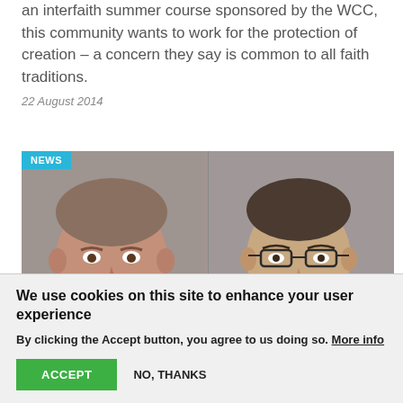an interfaith summer course sponsored by the WCC, this community wants to work for the protection of creation – a concern they say is common to all faith traditions.
22 August 2014
[Figure (photo): Two male headshot portraits side by side with a 'NEWS' badge in the top-left corner, against a grey background.]
We use cookies on this site to enhance your user experience
By clicking the Accept button, you agree to us doing so. More info
ACCEPT
NO, THANKS